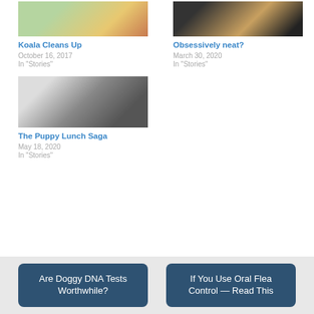[Figure (photo): Photo thumbnail for Koala Cleans Up article]
Koala Cleans Up
October 16, 2017
In "Stories"
[Figure (photo): Photo thumbnail for Obsessively neat? article]
Obsessively neat?
March 30, 2020
In "Stories"
[Figure (photo): Photo thumbnail for The Puppy Lunch Saga article]
The Puppy Lunch Saga
May 18, 2020
In "Stories"
Are Doggy DNA Tests Worthwhile?
If You Use Oral Flea Control — Read This